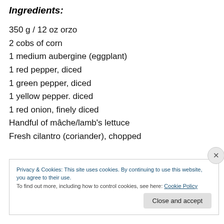Ingredients:
350 g / 12 oz orzo
2 cobs of corn
1 medium aubergine (eggplant)
1 red pepper, diced
1 green pepper, diced
1 yellow pepper. diced
1 red onion, finely diced
Handful of mâche/lamb's lettuce
Fresh cilantro (coriander), chopped
Privacy & Cookies: This site uses cookies. By continuing to use this website, you agree to their use. To find out more, including how to control cookies, see here: Cookie Policy